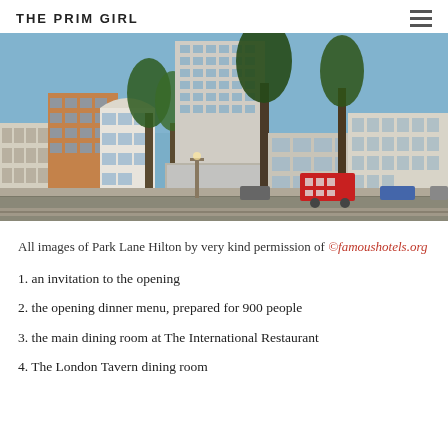THE PRIM GIRL
[Figure (photo): Vintage photograph of Park Lane Hilton hotel exterior, showing a tall modernist tower with surrounding buildings, trees, and a London double-decker bus on the street below.]
All images of Park Lane Hilton by very kind permission of ©famoushotels.org
1. an invitation to the opening
2. the opening dinner menu, prepared for 900 people
3. the main dining room at The International Restaurant
4. The London Tavern dining room